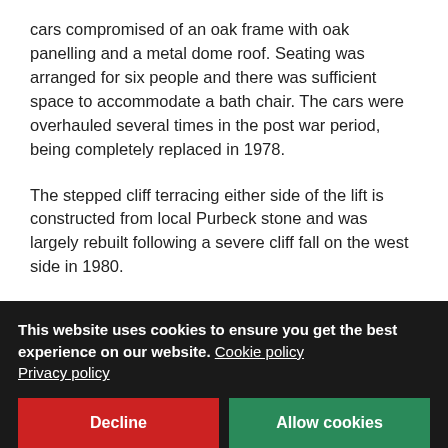cars compromised of an oak frame with oak panelling and a metal dome roof. Seating was arranged for six people and there was sufficient space to accommodate a bath chair. The cars were overhauled several times in the post war period, being completely replaced in 1978.
The stepped cliff terracing either side of the lift is constructed from local Purbeck stone and was largely rebuilt following a severe cliff fall on the west side in 1980.
The lift has operated continuously between March and October since first constructed, except for a hiatus [partially obscured] ...4 million [partially obscured] travelled on the Fisherman's Walk Cliff Lift. Since [partially obscured]
This website uses cookies to ensure you get the best experience on our website. Cookie policy Privacy policy
Decline
Allow cookies